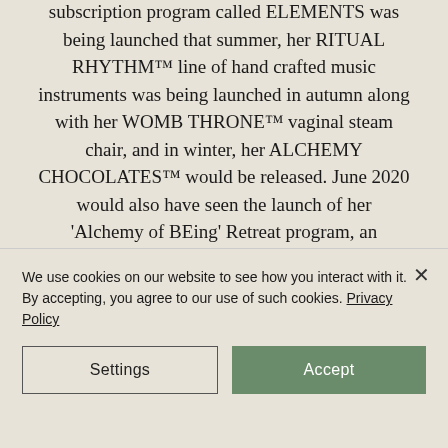subscription program called ELEMENTS was being launched that summer, her RITUAL RHYTHM™ line of hand crafted music instruments was being launched in autumn along with her WOMB THRONE™ vaginal steam chair, and in winter, her ALCHEMY CHOCOLATES™ would be released. June 2020 would also have seen the launch of her 'Alchemy of BEing' Retreat program, an advanced skill
We use cookies on our website to see how you interact with it. By accepting, you agree to our use of such cookies. Privacy Policy